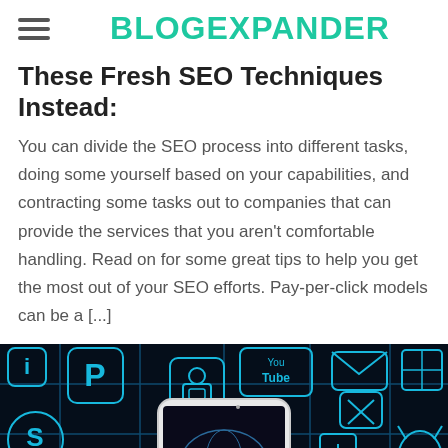BLOGEXPANDER
These Fresh SEO Techniques Instead:
You can divide the SEO process into different tasks, doing some yourself based on your capabilities, and contracting some tasks out to companies that can provide the services that you aren't comfortable handling. Read on for some great tips to help you get the most out of your SEO efforts. Pay-per-click models can be a [...]
[Figure (photo): Dark background image featuring glowing blue social media and app icons (Pinterest, YouTube, Skype, mail, Windows, Android, Apple, etc.) connected by lines, with a white smartphone in the center displaying a globe and the word PIXABAY.]